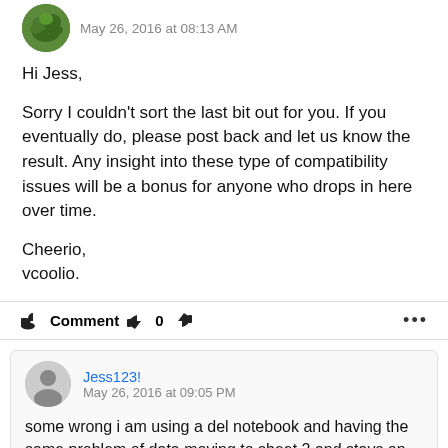May 26, 2016 at 08:13 AM
Hi Jess,

Sorry I couldn't sort the last bit out for you. If you eventually do, please post back and let us know the result. Any insight into these type of compatibility issues will be a bonus for anyone who drops in here over time.

Cheerfio,
vcoolio.
Comment  0  ...
Jess123!
May 26, 2016 at 09:05 PM

some wrong i am using a del notebook and having the same problem of data moving to sheet 2 and stays on sheet 1 I have downloaded the sample and it does the same thing may be I messed up the code somehow if it is working for you could you send me the code again and I will